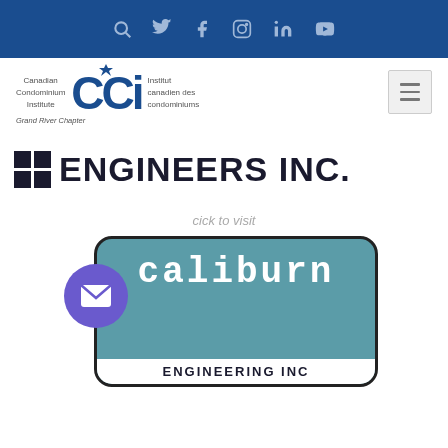Social media navigation bar with icons: search, Twitter, Facebook, Instagram, LinkedIn, YouTube
[Figure (logo): CCI - Canadian Condominium Institute / Institut canadien des condominiums - Grand River Chapter logo]
[Figure (logo): Engineers Inc. logo with dark squares and bold text]
cick to visit
[Figure (logo): Caliburn Engineering Inc. logo card with teal background, purple mail circle button]